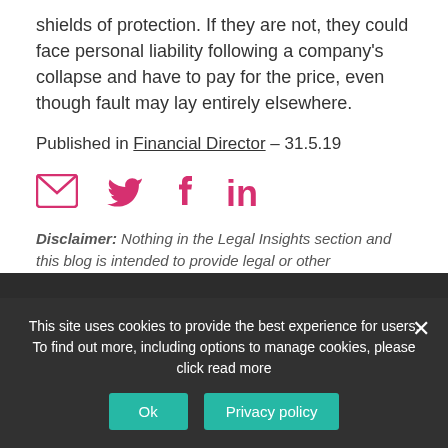shields of protection. If they are not, they could face personal liability following a company's collapse and have to pay for the price, even though fault may lay entirely elsewhere.
Published in Financial Director – 31.5.19
[Figure (other): Social sharing icons: email envelope, Twitter bird, Facebook f, LinkedIn in — all in pink/magenta color]
Disclaimer: Nothing in the Legal Insights section and this blog is intended to provide legal or other professional advice and, if readers are interested, they should consider taking separate legal or other professional advice accordingly.
This site uses cookies to provide the best experience for users. To find out more, including options to manage cookies, please click read more